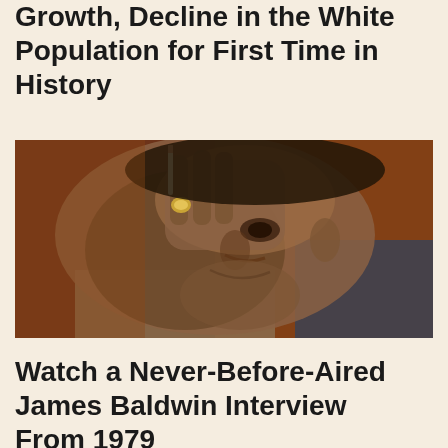Growth, Decline in the White Population for First Time in History
[Figure (photo): Close-up portrait photograph of a Black man holding a cigarette to his forehead with his right hand, wearing a ring, smiling slightly, with a blurred background.]
Watch a Never-Before-Aired James Baldwin Interview From 1979